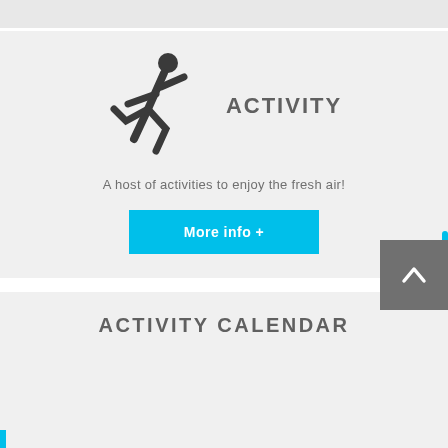[Figure (illustration): Running person pictogram icon in dark gray]
ACTIVITY
A host of activities to enjoy the fresh air!
[Figure (other): Cyan 'More info +' button]
ACTIVITY CALENDAR